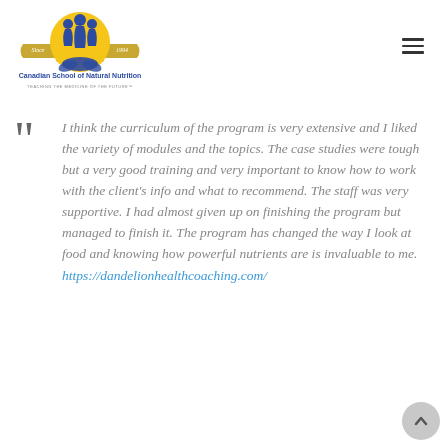[Figure (logo): Canadian School of Natural Nutrition logo — circular emblem with three figures, gold banner reading 'Since 1994', lotus flower, with text 'Canadian School of Natural Nutrition' and tagline 'TEACHING THE MEDICINE OF THE FUTURE™']
I think the curriculum of the program is very extensive and I liked the variety of modules and the topics. The case studies were tough but a very good training and very important to know how to work with the client's info and what to recommend. The staff was very supportive. I had almost given up on finishing the program but managed to finish it. The program has changed the way I look at food and knowing how powerful nutrients are is invaluable to me. https://dandelionhealthcoaching.com/